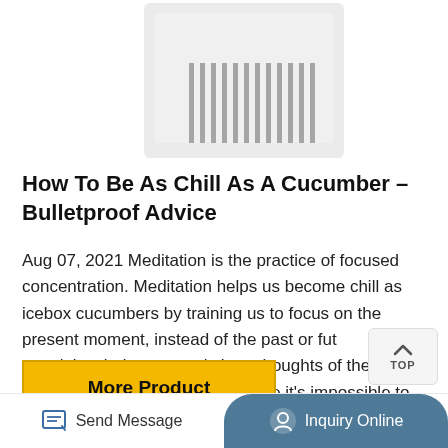[Figure (photo): Partial view of a white air conditioner or appliance unit with ventilation grilles, cropped at the top of the page]
How To Be As Chill As A Cucumber – Bulletproof Advice
Aug 07, 2021 Meditation is the practice of focused concentration. Meditation helps us become chill as icebox cucumbers by training us to focus on the present moment, instead of the past or future. Most people's minds constantly loop thoughts of the past or future. This is an issue because it's impossible to maximize the quality of your life now if you ...
[Figure (other): More Product button — yellow/gold rectangular button with bold black text]
[Figure (other): TOP scroll-to-top button — small rounded rectangle with up arrow and TOP label]
Send Message   Inquiry Online